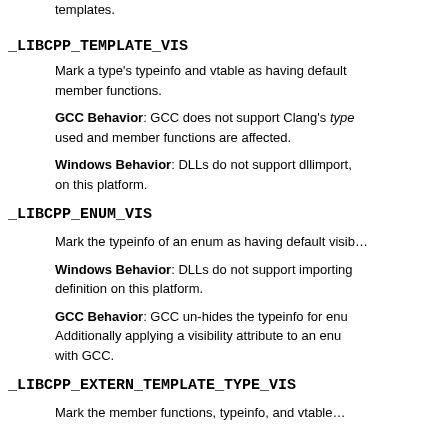templates.
_LIBCPP_TEMPLATE_VIS
Mark a type's typeinfo and vtable as having default member functions.
GCC Behavior: GCC does not support Clang's typeinfo used and member functions are affected.
Windows Behavior: DLLs do not support dllimport, on this platform.
_LIBCPP_ENUM_VIS
Mark the typeinfo of an enum as having default visibility.
Windows Behavior: DLLs do not support importing definition on this platform.
GCC Behavior: GCC un-hides the typeinfo for enum. Additionally applying a visibility attribute to an enum with GCC.
_LIBCPP_EXTERN_TEMPLATE_TYPE_VIS
Mark the member functions, typeinfo, and vtable...